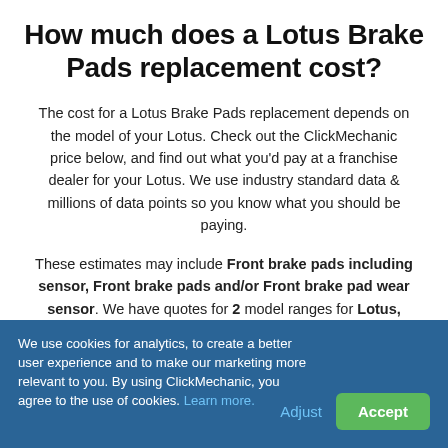How much does a Lotus Brake Pads replacement cost?
The cost for a Lotus Brake Pads replacement depends on the model of your Lotus. Check out the ClickMechanic price below, and find out what you'd pay at a franchise dealer for your Lotus. We use industry standard data & millions of data points so you know what you should be paying.
These estimates may include Front brake pads including sensor, Front brake pads and/or Front brake pad wear sensor. We have quotes for 2 model ranges for Lotus, Brake Pads Replacement.
We use cookies for analytics, to create a better user experience and to make our marketing more relevant to you. By using ClickMechanic, you agree to the use of cookies. Learn more.